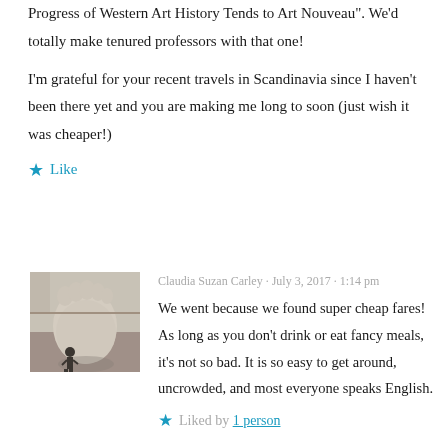Progress of Western Art History Tends to Art Nouveau". We'd totally make tenured professors with that one!
I'm grateful for your recent travels in Scandinavia since I haven't been there yet and you are making me long to soon (just wish it was cheaper!)
★ Like
[Figure (photo): Avatar image showing a large stone foot sculpture with a small person standing beside it]
Claudia Suzan Carley · July 3, 2017 · 1:14 pm
We went because we found super cheap fares! As long as you don't drink or eat fancy meals, it's not so bad. It is so easy to get around, uncrowded, and most everyone speaks English.
★ Liked by 1 person